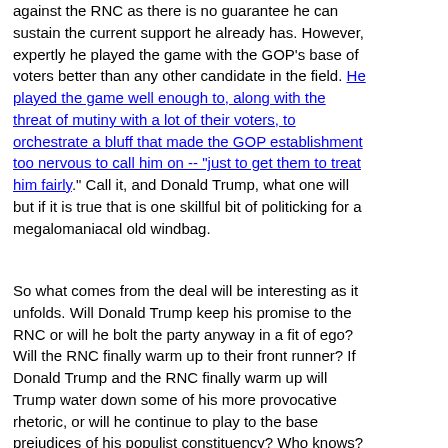against the RNC as there is no guarantee he can sustain the current support he already has. However, expertly he played the game with the GOP's base of voters better than any other candidate in the field. He played the game well enough to, along with the threat of mutiny with a lot of their voters, to orchestrate a bluff that made the GOP establishment too nervous to call him on -- "just to get them to treat him fairly." Call it, and Donald Trump, what one will but if it is true that is one skillful bit of politicking for a megalomaniacal old windbag.
So what comes from the deal will be interesting as it unfolds. Will Donald Trump keep his promise to the RNC or will he bolt the party anyway in a fit of ego? Will the RNC finally warm up to their front runner? If Donald Trump and the RNC finally warm up will Trump water down some of his more provocative rhetoric, or will he continue to play to the base prejudices of his populist constituency? Who knows? Much is still yet to come, and further of a more interesting hi...